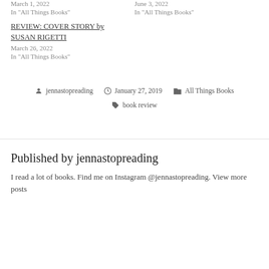March 1, 2022
In "All Things Books"
June 3, 2022
In "All Things Books"
REVIEW: COVER STORY by SUSAN RIGETTI
March 26, 2022
In "All Things Books"
Posted by jennastopreading  January 27, 2019  All Things Books  book review
Published by jennastopreading
I read a lot of books. Find me on Instagram @jennastopreading. View more posts